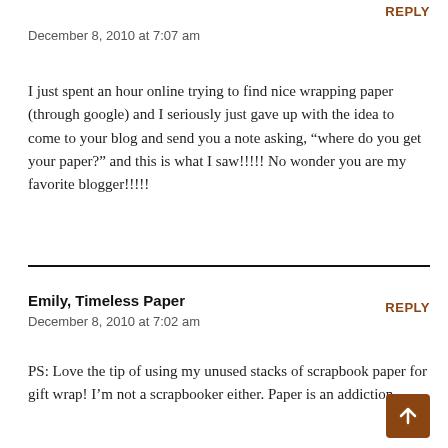REPLY
December 8, 2010 at 7:07 am
I just spent an hour online trying to find nice wrapping paper (through google) and I seriously just gave up with the idea to come to your blog and send you a note asking, “where do you get your paper?” and this is what I saw!!!!! No wonder you are my favorite blogger!!!!!
Emily, Timeless Paper
REPLY
December 8, 2010 at 7:02 am
PS: Love the tip of using my unused stacks of scrapbook paper for gift wrap! I’m not a scrapbooker either. Paper is an addiction.